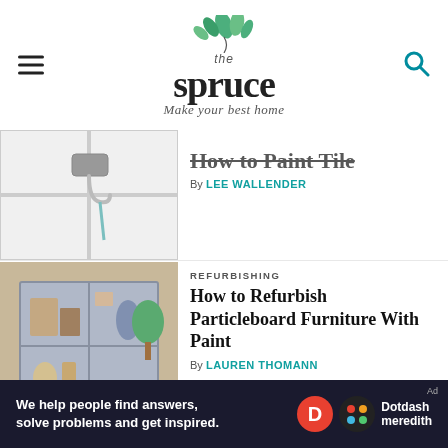[Figure (logo): The Spruce logo with tagline 'Make your best home' and green leaf illustration]
[Figure (photo): Close-up of white tiles with a chrome hook on the wall]
How to Paint Tile
By LEE WALLENDER
REFURBISHING
[Figure (photo): Refurbished particleboard cube shelf painted gray with decorative items inside]
How to Refurbish Particleboard Furniture With Paint
By LAUREN THOMANN
DOORS & WINDOWS
[Figure (photo): Hand painting window frame with blue tape]
Easy Way To Freshen Up
[Figure (other): Dotdash Meredith advertisement banner: We help people find answers, solve problems and get inspired.]